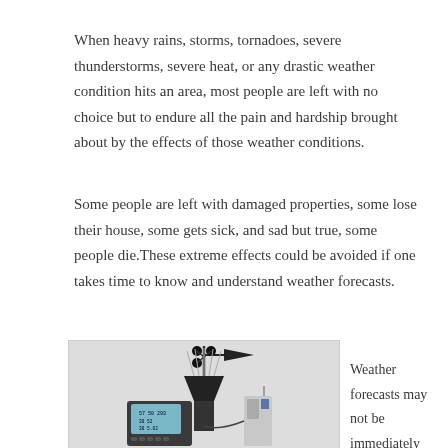When heavy rains, storms, tornadoes, severe thunderstorms, severe heat, or any drastic weather condition hits an area, most people are left with no choice but to endure all the pain and hardship brought about by the effects of those weather conditions.
Some people are left with damaged properties, some lose their house, some gets sick, and sad but true, some people die.These extreme effects could be avoided if one takes time to know and understand weather forecasts.
[Figure (photo): A weather station device with anemometer, wind vane, rain gauge, display console, and wireless sensor unit]
Weather forecasts may not be immediately available at hand. It could be either you are in a remote area, or you just don't have any